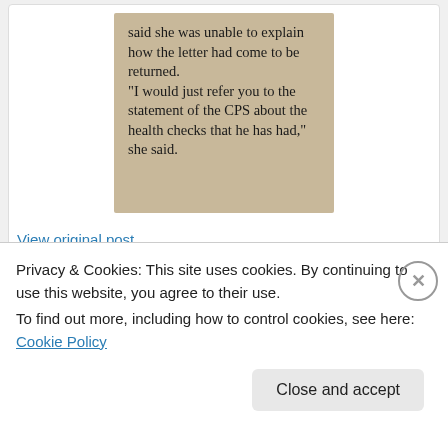[Figure (photo): Newspaper clipping showing text: 'said she was unable to explain how the letter had come to be returned. "I would just refer you to the statement of the CPS about the health checks that he has had," she said.']
View original post
Advertisements
[Figure (screenshot): WordPress advertisement banner with blue-to-teal gradient background, WordPress logo (W in circle) on left, and a dark button on the right.]
Privacy & Cookies: This site uses cookies. By continuing to use this website, you agree to their use.
To find out more, including how to control cookies, see here: Cookie Policy